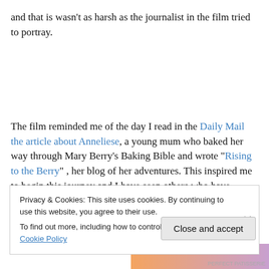and that is wasn't as harsh as the journalist in the film tried to portray.
The film reminded me of the day I read in the Daily Mail the article about Anneliese, a young mum who baked her way through Mary Berry's Baking Bible and wrote “Rising to the Berry” , her blog of her adventures. This inspired me to begin this journey and I have seen others who have started this journey too.
Privacy & Cookies: This site uses cookies. By continuing to use this website, you agree to their use. To find out more, including how to control cookies, see here: Cookie Policy
Close and accept